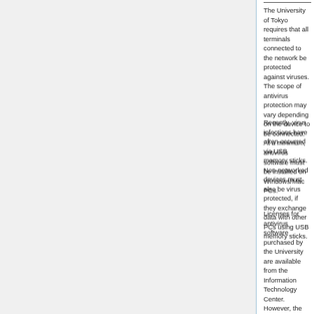The University of Tokyo requires that all terminals connected to the network be protected against viruses. The scope of antivirus protection may vary depending on the device to be connected. At a minimum, antivirus software must be installed on Windows/Mac PCs.
Recently, virus infections have often occurred via USB memory sticks. Non-networked devices must also be virus protected, if they exchange data with other PCs using USB memory sticks.
Licenses for antivirus software purchased by the University are available from the Information Technology Center. However, the School of Science pays antivirus software license charges collectively for efficient license management; license keys are